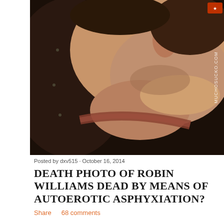[Figure (photo): Close-up photograph showing a person's neck and lower face with a ligature mark visible on the neck. Watermark text 'MUCHOSUCKO.COM' visible on right side.]
Posted by dxv515 · October 16, 2014
DEATH PHOTO OF ROBIN WILLIAMS DEAD BY MEANS OF AUTOEROTIC ASPHYXIATION?
Share    68 comments
[Figure (photo): Partial view of a second image at the bottom of the page, appearing to show figures or statues against a sky background.]